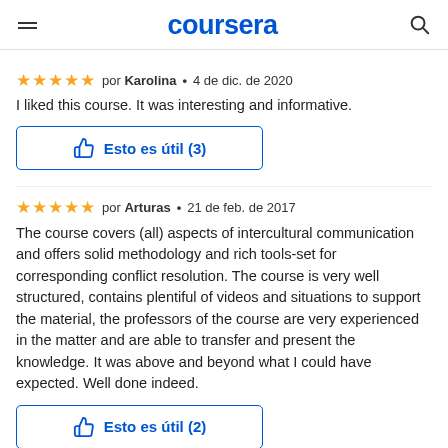coursera
★★★★★  por Karolina • 4 de dic. de 2020
I liked this course. It was interesting and informative.
Esto es útil (3)
★★★★★  por Arturas • 21 de feb. de 2017
The course covers (all) aspects of intercultural communication and offers solid methodology and rich tools-set for corresponding conflict resolution. The course is very well structured, contains plentiful of videos and situations to support the material, the professors of the course are very experienced in the matter and are able to transfer and present the knowledge. It was above and beyond what I could have expected. Well done indeed.
Esto es útil (2)